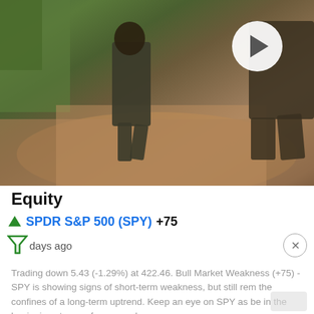[Figure (photo): Two people in military/camouflage clothing walking on a dirt path with a play button overlay in the upper right corner]
Equity
SPDR S&P 500 (SPY) +75
days ago
Trading down 5.43 (-1.29%) at 422.46. Bull Market Weakness (+75) - SPY is showing signs of short-term weakness, but still rem the confines of a long-term uptrend. Keep an eye on SPY as be in the beginning stages of a reversal.